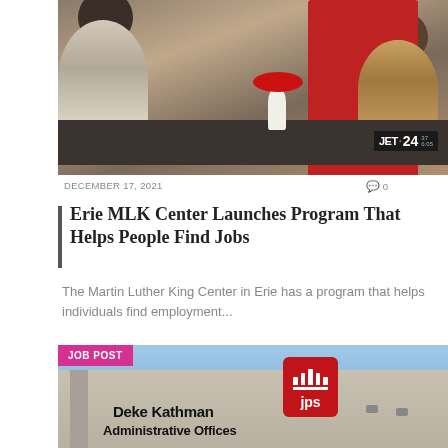[Figure (photo): TV news screenshot showing people seated at a table with red tablecloth and flowers, JET24 logo visible, ticker reads: ERIE MLK CENTER LAUNCHES PROGRAM FOR JOBS]
DECEMBER 17, 2021
0
Erie MLK Center Launches Program That Helps People Find Jobs
The Martin Luther King Center in Erie has a program that helps individuals find employment...
[Figure (photo): Photo of the Deke Kathman Administrative Offices building with a JPS logo sign, labeled JOB POST]